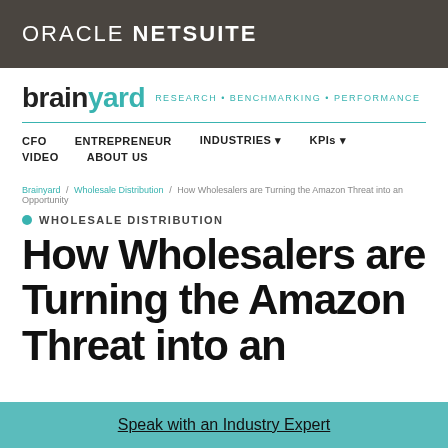ORACLE NETSUITE
[Figure (logo): Brainyard logo with tagline: RESEARCH • BENCHMARKING • PERFORMANCE]
CFO   ENTREPRENEUR   INDUSTRIES ▾   KPIs ▾   VIDEO   ABOUT US
Brainyard / Wholesale Distribution / How Wholesalers are Turning the Amazon Threat Into an Opportunity
WHOLESALE DISTRIBUTION
How Wholesalers are Turning the Amazon Threat into an
Speak with an Industry Expert